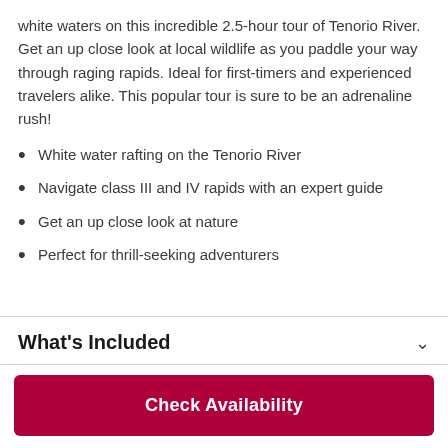white waters on this incredible 2.5-hour tour of Tenorio River. Get an up close look at local wildlife as you paddle your way through raging rapids. Ideal for first-timers and experienced travelers alike. This popular tour is sure to be an adrenaline rush!
White water rafting on the Tenorio River
Navigate class III and IV rapids with an expert guide
Get an up close look at nature
Perfect for thrill-seeking adventurers
What's Included
Check Availability